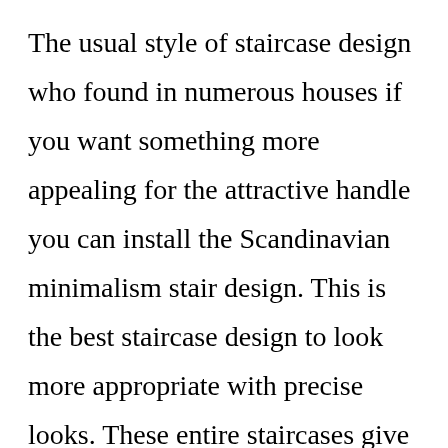The usual style of staircase design who found in numerous houses if you want something more appealing for the attractive handle you can install the Scandinavian minimalism stair design. This is the best staircase design to look more appropriate with precise looks. These entire staircases give a spacious or light feel. Mostly these staircases are used to install at home. That’s why you have to approach the different staircase designs at home. These stairs are carpeted or have different kinds of handrails attached to the floor. This staircase